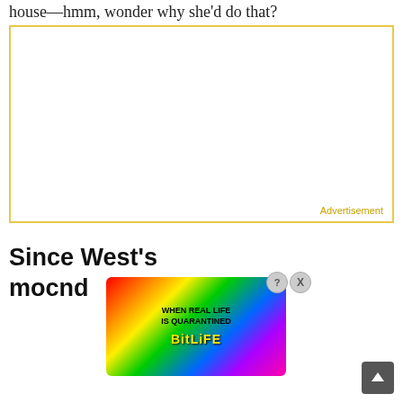house—hmm, wonder why she'd do that?
[Figure (other): Empty advertisement placeholder box with gold/yellow border and 'Advertisement' label in bottom right corner]
Since West's mod nd
[Figure (other): BitLife mobile game advertisement banner with rainbow gradient background, text 'WHEN REAL LIFE IS QUARANTINED' and 'BitLife' logo with emoji characters. Has close (X) and help (?) buttons.]